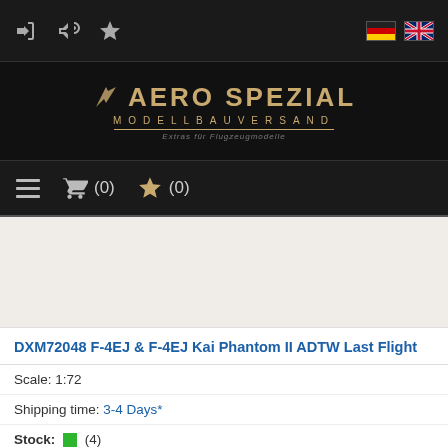[Figure (screenshot): Top navigation bar with icons (login, megaphone, star) and German/UK flag icons on dark background]
[Figure (logo): Aero Spezial Modellbauversand logo on dark background with golden text]
[Figure (screenshot): Menu bar with hamburger icon, shopping cart (0), wishlist star (0) on dark background]
DXM72048 F-4EJ & F-4EJ Kai Phantom II ADTW Last Flight
Scale: 1:72
Shipping time: 3-4 Days*
Stock: (4)
21,50 EUR
19 % VAT incl. | excl. Shipping costs